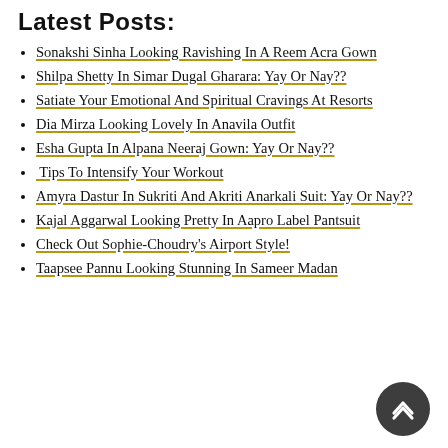Latest Posts:
Sonakshi Sinha Looking Ravishing In A Reem Acra Gown
Shilpa Shetty In Simar Dugal Gharara: Yay Or Nay??
Satiate Your Emotional And Spiritual Cravings At Resorts
Dia Mirza Looking Lovely In Anavila Outfit
Esha Gupta In Alpana Neeraj Gown: Yay Or Nay??
Tips To Intensify Your Workout
Amyra Dastur In Sukriti And Akriti Anarkali Suit: Yay Or Nay??
Kajal Aggarwal Looking Pretty In Aapro Label Pantsuit
Check Out Sophie-Choudry's Airport Style!
Taapsee Pannu Looking Stunning In Sameer Madan